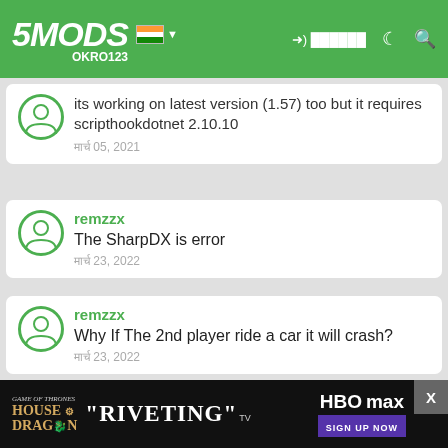5MODS | OKRO123 | लॉगिन | dark mode | search
its working on latest version (1.57) too but it requires scripthookdotnet 2.10.10
मार्च 05, 2021
remzzx
The SharpDX is error
मार्च 23, 2022
remzzx
Why If The 2nd player ride a car it will crash?
मार्च 23, 2022
djdixmayrink
Unhandled exception in script *TwoPlayerMod"
[Figure (screenshot): House of the Dragon advertisement banner with HBO Max logo and 'RIVETING' TV quote]